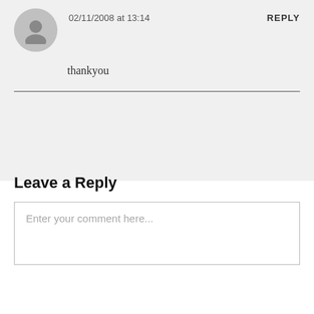02/11/2008 at 13:14
REPLY
thankyou
Leave a Reply
Enter your comment here...